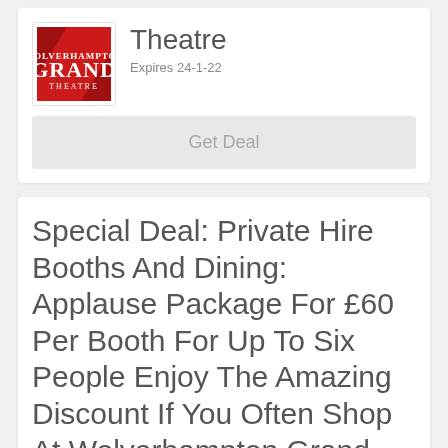Theatre
Expires 24-1-22
Get Deal
Special Deal: Private Hire Booths And Dining: Applause Package For £60 Per Booth For Up To Six People Enjoy The Amazing Discount If You Often Shop At Wolverhampton Grand Theatre. Then Never
[Figure (logo): Wolverhampton Grand Theatre logo — red background with GRAND text in white serif font, top card]
[Figure (logo): Wolverhampton Grand Theatre logo — red background with GRAND text in white serif font, bottom card]